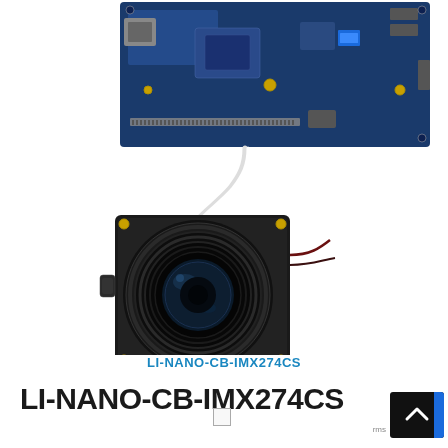[Figure (photo): Photo of a development board (top) connected via a flat cable to a camera module with a lens (LI-NANO-CB-IMX274CS camera attached to a Jetson Nano board).]
LI-NANO-CB-IMX274CS
LI-NANO-CB-IMX274CS